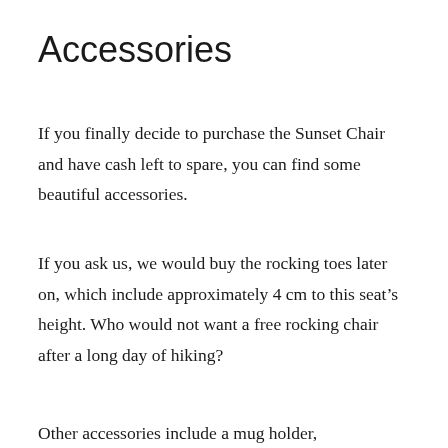Accessories
If you finally decide to purchase the Sunset Chair and have cash left to spare, you can find some beautiful accessories.
If you ask us, we would buy the rocking toes later on, which include approximately 4 cm to this seat’s height. Who would not want a free rocking chair after a long day of hiking?
Other accessories include a mug holder,